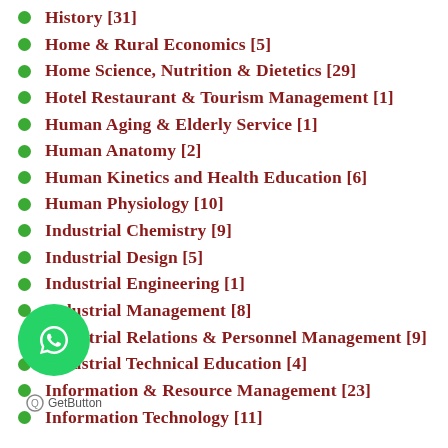History [31]
Home & Rural Economics [5]
Home Science, Nutrition & Dietetics [29]
Hotel Restaurant & Tourism Management [1]
Human Aging & Elderly Service [1]
Human Anatomy [2]
Human Kinetics and Health Education [6]
Human Physiology [10]
Industrial Chemistry [9]
Industrial Design [5]
Industrial Engineering [1]
Industrial Management [8]
Industrial Relations & Personnel Management [9]
Industrial Technical Education [4]
Information & Resource Management [23]
Information Technology [11]